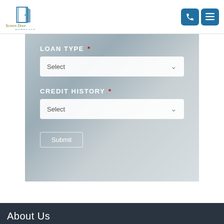[Figure (logo): Screen Door Mortgage logo with stylized door icon and company name]
LOAN TYPE *
Select
CREDIT HISTORY *
Select
Submit
About Us